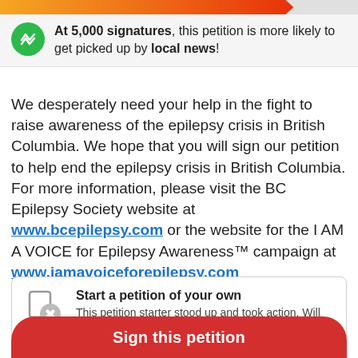[Figure (infographic): Progress bar showing petition milestone, gradient from yellow-orange to red with arrow tip]
At 5,000 signatures, this petition is more likely to get picked up by local news!
We desperately need your help in the fight to raise awareness of the epilepsy crisis in British Columbia. We hope that you will sign our petition to help end the epilepsy crisis in British Columbia. For more information, please visit the BC Epilepsy Society website at www.bcepilepsy.com or the website for the I AM A VOICE for Epilepsy Awareness™ campaign at www.iamavoiceforepilepsy.com
Start a petition of your own
This petition starter stood up and took action. Will
Sign this petition